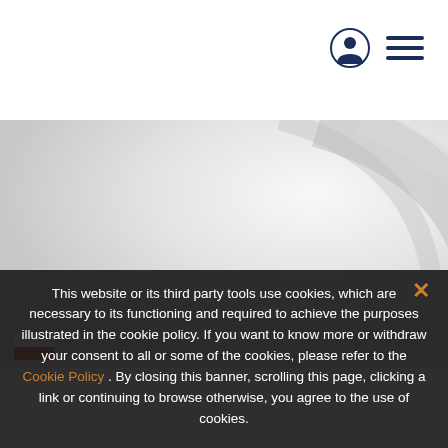[Figure (screenshot): Website header bar with white background, user account icon (person silhouette in dark blue circle) and hamburger menu icon (three horizontal dark blue lines) in the top right corner]
[Figure (photo): Hero/banner area with a light grey gradient background featuring subtle swirl or curved decorative element]
This website or its third party tools use cookies, which are necessary to its functioning and required to achieve the purposes illustrated in the cookie policy. If you want to know more or withdraw your consent to all or some of the cookies, please refer to the Cookie Policy . By closing this banner, scrolling this page, clicking a link or continuing to browse otherwise, you agree to the use of cookies.